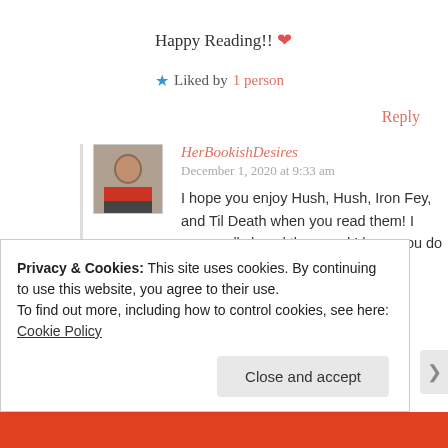Happy Reading!! ❤
★ Liked by 1 person
Reply
HerBookishDesires
December 1, 2020 at 9:33 am
I hope you enjoy Hush, Hush, Iron Fey, and Til Death when you read them! I personally loved them and I hope you do too❤ Thanks for
Privacy & Cookies: This site uses cookies. By continuing to use this website, you agree to their use.
To find out more, including how to control cookies, see here: Cookie Policy
Close and accept